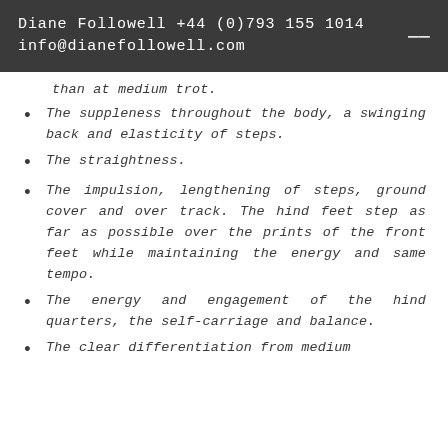Diane Followell +44 (0)793 155 1014 info@dianefollowell.com
than at medium trot.
The suppleness throughout the body, a swinging back and elasticity of steps.
The straightness.
The impulsion, lengthening of steps, ground cover and over track. The hind feet step as far as possible over the prints of the front feet while maintaining the energy and same tempo.
The energy and engagement of the hind quarters, the self-carriage and balance.
The clear differentiation from medium